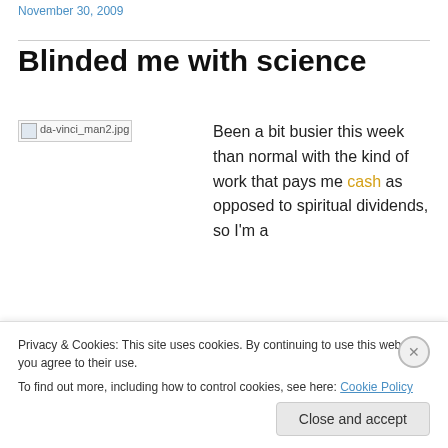November 30, 2009
Blinded me with science
[Figure (photo): Broken image placeholder labeled da-vinci_man2.jpg]
Been a bit busier this week than normal with the kind of work that pays me cash as opposed to spiritual dividends, so I'm a
Privacy & Cookies: This site uses cookies. By continuing to use this website, you agree to their use.
To find out more, including how to control cookies, see here: Cookie Policy
Close and accept